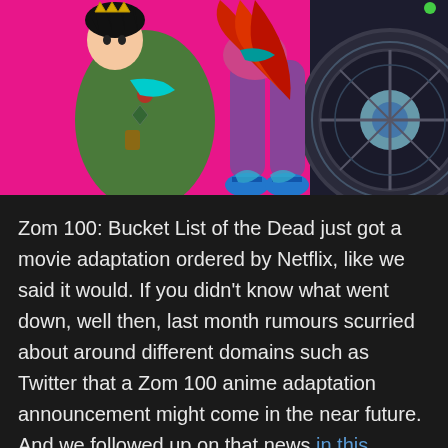[Figure (illustration): Anime illustration from Zom 100: Bucket List of the Dead. Features two characters on a pink/magenta background — a male character in a green military jacket with a crown, and a female character in purple leggings with blue sandals, both near a large motorcycle wheel.]
Zom 100: Bucket List of the Dead just got a movie adaptation ordered by Netflix, like we said it would. If you didn't know what went down, well then, last month rumours scurried about around different domains such as Twitter that a Zom 100 anime adaptation announcement might come in the near future. And we followed up on that news in this article- here.